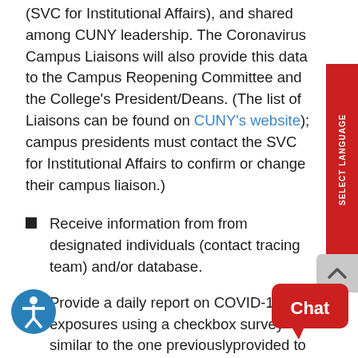(SVC for Institutional Affairs), and shared among CUNY leadership. The Coronavirus Campus Liaisons will also provide this data to the Campus Reopening Committee and the College's President/Deans. (The list of Liaisons can be found on CUNY's website); campus presidents must contact the SVC for Institutional Affairs to confirm or change their campus liaison.)
Receive information from from designated individuals (contact tracing team) and/or database.
Provide a daily report on COVID-19 exposures using a checkbox survey similar to the one previouslyprovided to them (see Supplemental Guideline: 'Coronavirus Campus Liaisons. L and Data Gathering Process'). Liaisons will provide this report to the